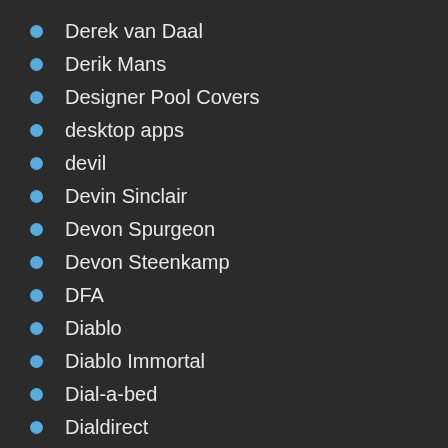Derek van Daal
Derik Mans
Designer Pool Covers
desktop apps
devil
Devin Sinclair
Devon Spurgeon
Devon Steenkamp
DFA
Diablo
Diablo Immortal
Dial-a-bed
Dialdirect
Diao Shijing